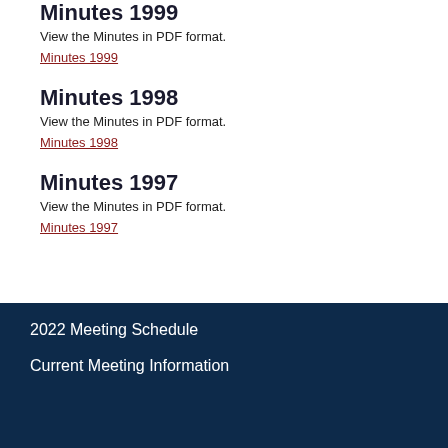Minutes 1999
View the Minutes in PDF format.
Minutes 1999
Minutes 1998
View the Minutes in PDF format.
Minutes 1998
Minutes 1997
View the Minutes in PDF format.
Minutes 1997
2022 Meeting Schedule
Current Meeting Information